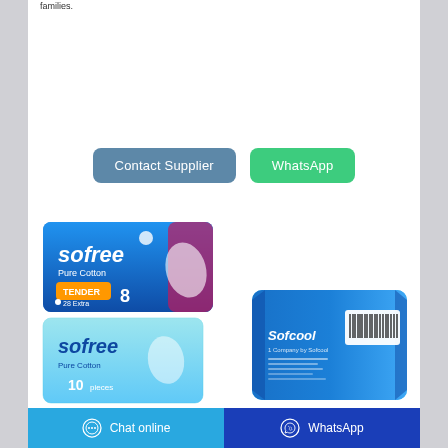families.
[Figure (other): Two buttons: 'Contact Supplier' (steel blue, rounded) and 'WhatsApp' (green, rounded)]
[Figure (photo): Product images: Sofree Pure Cotton sanitary pads packages (blue and pink packaging, count 8 and 10), and a back-of-package view of a blue product with barcode]
Chat online   WhatsApp